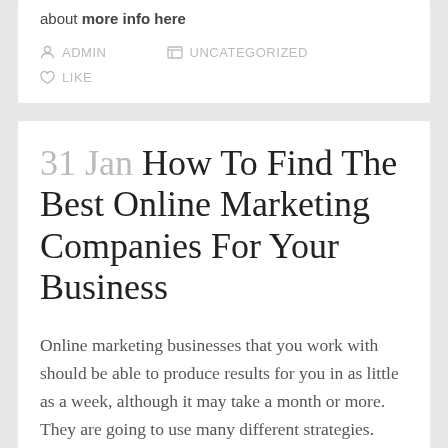about more info here
ADMIN   UNCATEGORIZED
LIKE
31 Jan How To Find The Best Online Marketing Companies For Your Business
Online marketing businesses that you work with should be able to produce results for you in as little as a week, although it may take a month or more. They are going to use many different strategies. This would include PPC advertising on Facebook and Google. They will also use SEO